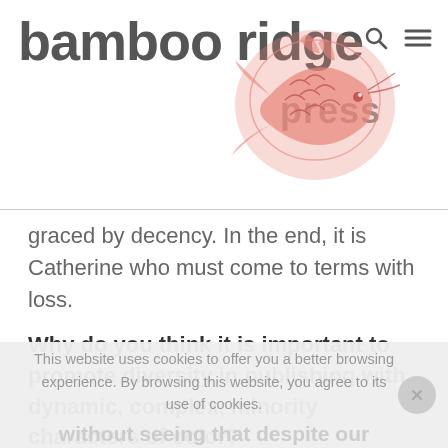bamboo ridge press
graced by decency. In the end, it is Catherine who must come to terms with loss.
Why do you think it is important to promote diversity in publishing with dynamic, complex, minority characters of color?
This website uses cookies to offer you a better browsing experience. By browsing this website, you agree to its use of cookies.
without seeing that despite our